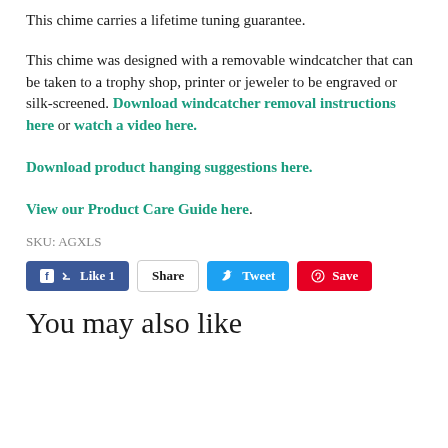This chime carries a lifetime tuning guarantee.
This chime was designed with a removable windcatcher that can be taken to a trophy shop, printer or jeweler to be engraved or silk-screened. Download windcatcher removal instructions here or watch a video here.
Download product hanging suggestions here.
View our Product Care Guide here.
SKU: AGXLS
[Figure (infographic): Social sharing buttons: Facebook Like 1, Share, Tweet, Pinterest Save]
You may also like